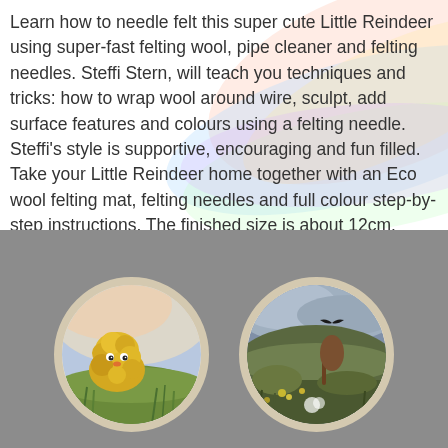Learn how to needle felt this super cute Little Reindeer using super-fast felting wool, pipe cleaner and felting needles. Steffi Stern, will teach you techniques and tricks: how to wrap wool around wire, sculpt, add surface features and colours using a felting needle. Steffi's style is supportive, encouraging and fun filled. Take your Little Reindeer home together with an Eco wool felting mat, felting needles and full colour step-by-step instructions. The finished size is about 12cm.
[Figure (photo): Two circular framed felted wool scenes. Left circle shows a fluffy yellow/golden character with eyes in a grassy meadow under a sunny sky. Right circle shows a countryside landscape scene with a bird in flight.]